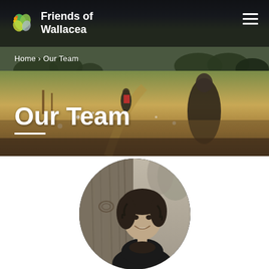[Figure (photo): Hero banner showing two people walking through a wildflower meadow on a path, with a dark stormy sky in the background. The Friends of Wallacea logo and navigation bar overlay the top of the image.]
Friends of Wallacea
Home › Our Team
Our Team
[Figure (photo): Circular black and white portrait photo of a young woman with curly hair smiling, standing next to a wooden surface with trees in the background.]